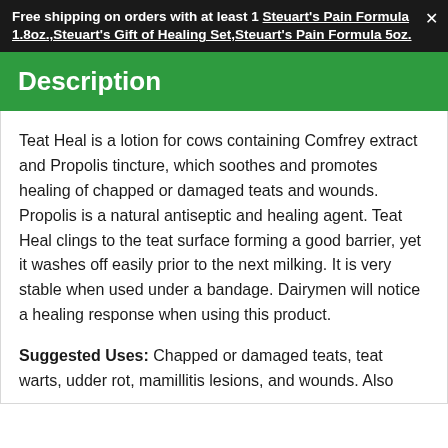Free shipping on orders with at least 1 Steuart's Pain Formula 1.8oz.,Steuart's Gift of Healing Set,Steuart's Pain Formula 5oz.
Description
Teat Heal is a lotion for cows containing Comfrey extract and Propolis tincture, which soothes and promotes healing of chapped or damaged teats and wounds. Propolis is a natural antiseptic and healing agent. Teat Heal clings to the teat surface forming a good barrier, yet it washes off easily prior to the next milking. It is very stable when used under a bandage. Dairymen will notice a healing response when using this product.
Suggested Uses: Chapped or damaged teats, teat warts, udder rot, mamillitis lesions, and wounds. Also